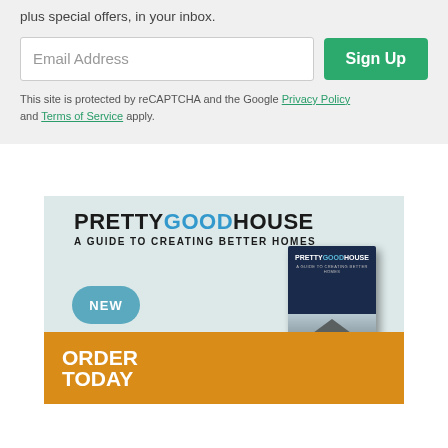plus special offers, in your inbox.
This site is protected by reCAPTCHA and the Google Privacy Policy and Terms of Service apply.
[Figure (illustration): Advertisement for the book 'Pretty Good House: A Guide to Creating Better Homes' with a teal badge reading NEW, an orange banner at the bottom reading ORDER TODAY, and a book cover image showing a house at night.]